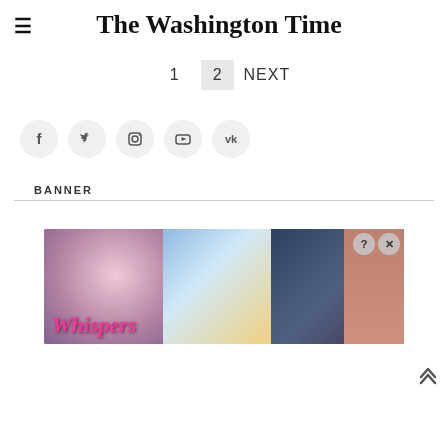The Washington Time
1  2  NEXT
[Figure (other): Social media icons: Facebook, Twitter, Instagram, YouTube, VK — circular grey buttons]
BANNER
[Figure (illustration): Advertisement banner for 'Whispers' app/game showing romantic illustrated characters with 'Whispers' text in pink, with close (X) and question mark (?) buttons]